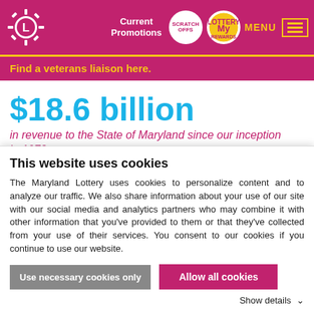[Figure (screenshot): Maryland Lottery website header with pink/magenta background, sun logo, Current Promotions link, Scratch-Offs circular badge, My Rewards circular badge, MENU text, and hamburger icon with yellow lines]
Find a veterans liaison here.
$18.6 billion
in revenue to the State of Maryland since our inception in 1973.
Players must be at least 18 years old to play all Maryland Lottery games. The Maryland Lottery encourages responsible play.
This website uses cookies
The Maryland Lottery uses cookies to personalize content and to analyze our traffic. We also share information about your use of our site with our social media and analytics partners who may combine it with other information that you've provided to them or that they've collected from your use of their services. You consent to our cookies if you continue to use our website.
Use necessary cookies only
Allow all cookies
Show details